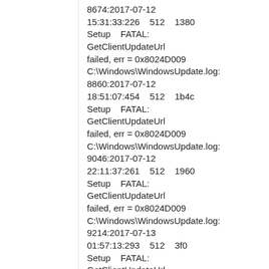8674:2017-07-12 15:31:33:226    512    1380 Setup    FATAL:    GetClientUpdateUrl failed, err = 0x8024D009 C:\Windows\WindowsUpdate.log:8860:2017-07-12 18:51:07:454    512    1b4c Setup    FATAL:    GetClientUpdateUrl failed, err = 0x8024D009 C:\Windows\WindowsUpdate.log:9046:2017-07-12 22:11:37:261    512    1960 Setup    FATAL:    GetClientUpdateUrl failed, err = 0x8024D009 C:\Windows\WindowsUpdate.log:9214:2017-07-13 01:57:13:293    512    3f0 Setup    FATAL:    GetClientUpdateUrl